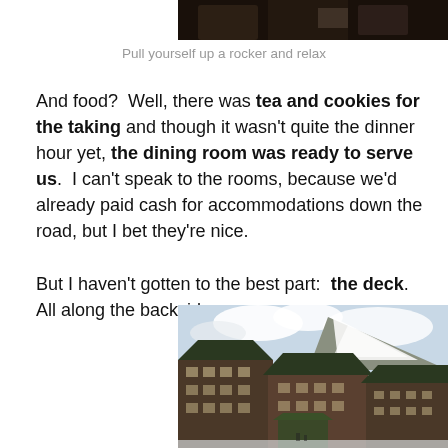[Figure (photo): Top partial photo showing people or objects, dark image, partially cropped at top of page]
Pull yourself up a rocker and relax
And food?  Well, there was tea and cookies for the taking and though it wasn't quite the dinner hour yet, the dining room was ready to serve us.  I can't speak to the rooms, because we'd already paid cash for accommodations down the road, but I bet they're nice.

But I haven't gotten to the best part:  the deck.  All along the backside
[Figure (photo): Exterior photo of a large lodge-style building with dark brown/stone exterior and green roof, set against a snowy mountain backdrop with cloudy sky]